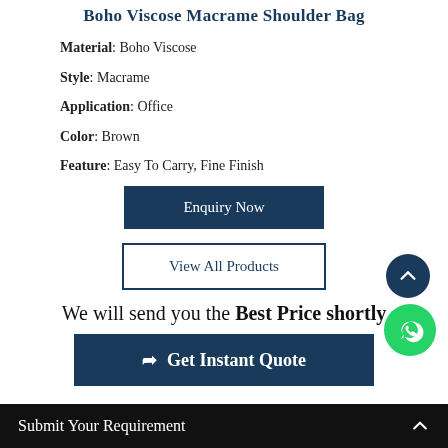Boho Viscose Macrame Shoulder Bag
Material: Boho Viscose
Style: Macrame
Application: Office
Color: Brown
Feature: Easy To Carry, Fine Finish
Enquiry Now
View All Products
We will send you the Best Price shortly
Get Instant Quote
Submit Your Requirement